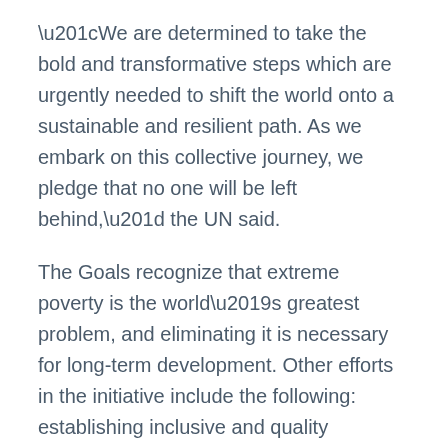“We are determined to take the bold and transformative steps which are urgently needed to shift the world onto a sustainable and resilient path. As we embark on this collective journey, we pledge that no one will be left behind,” the UN said.
The Goals recognize that extreme poverty is the world’s greatest problem, and eliminating it is necessary for long-term development. Other efforts in the initiative include the following: establishing inclusive and quality education, ending hunger, achieving gender equality, conserving oceans, and building resilient infrastructure, among others.
Water Access, Sanitation and Hygiene (WASH)
There are three goals that recognize the great